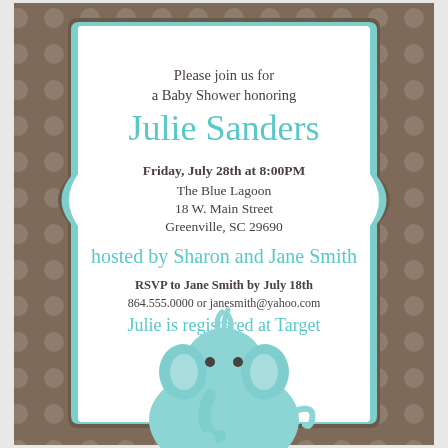[Figure (illustration): Baby shower invitation card with tan/brown polka dot background, an ornate white card with teal border featuring text and a cute teal cartoon baby elephant at the bottom]